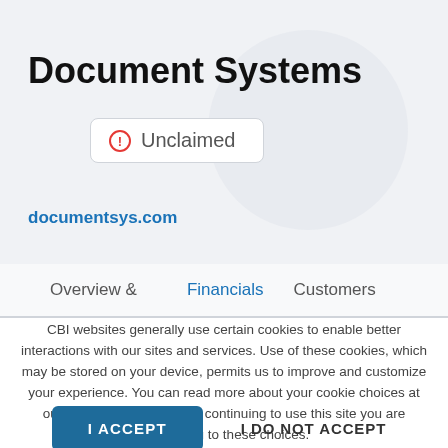Document Systems
Unclaimed
documentsys.com
Overview &
Financials
Customers
CBI websites generally use certain cookies to enable better interactions with our sites and services. Use of these cookies, which may be stored on your device, permits us to improve and customize your experience. You can read more about your cookie choices at our privacy policy here. By continuing to use this site you are consenting to these choices.
I ACCEPT
I DO NOT ACCEPT